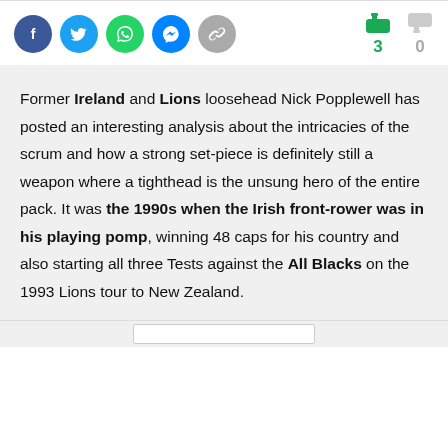[Figure (other): Social sharing icons: Facebook, Twitter, WhatsApp, Messenger, Link, and voting buttons showing 3 upvotes and 0 downvotes]
Former Ireland and Lions loosehead Nick Popplewell has posted an interesting analysis about the intricacies of the scrum and how a strong set-piece is definitely still a weapon where a tighthead is the unsung hero of the entire pack. It was the 1990s when the Irish front-rower was in his playing pomp, winning 48 caps for his country and also starting all three Tests against the All Blacks on the 1993 Lions tour to New Zealand.